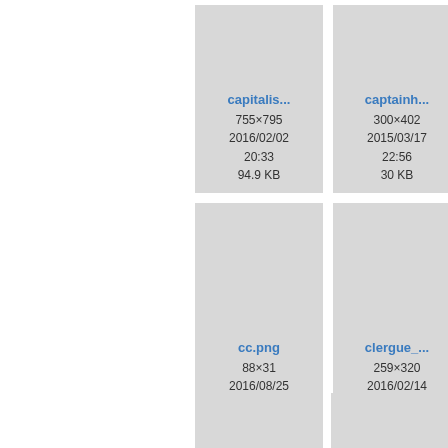[Figure (screenshot): File browser grid view showing image thumbnails with filenames, dimensions, dates, and file sizes. Row 1: capitalis... (755×795, 2016/02/02 20:33, 94.9 KB), captainh... (300×402, 2015/03/17 22:56, 30 KB), ca... (partially visible). Row 2: cc.png (88×31, 2016/08/25 11:32, 1.8 KB), clergue_... (259×320, 2016/02/14 00:34, 28.7 KB), cl... (partially visible). Row 3: two more cards partially visible at bottom.]